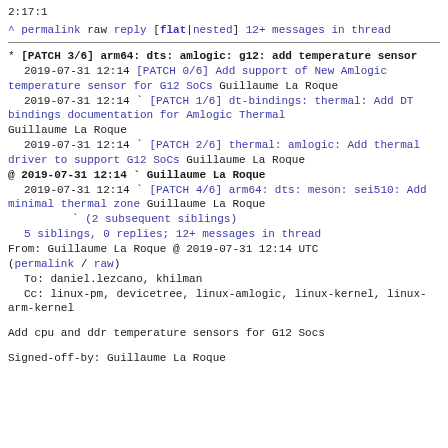2:17:1
^ permalink raw reply [flat|nested] 12+ messages in thread
* [PATCH 3/6] arm64: dts: amlogic: g12: add temperature sensor
  2019-07-31 12:14 [PATCH 0/6] Add support of New Amlogic temperature sensor for G12 SoCs Guillaume La Roque
  2019-07-31 12:14 ` [PATCH 1/6] dt-bindings: thermal: Add DT bindings documentation for Amlogic Thermal Guillaume La Roque
  2019-07-31 12:14 ` [PATCH 2/6] thermal: amlogic: Add thermal driver to support G12 SoCs Guillaume La Roque
@ 2019-07-31 12:14 ` Guillaume La Roque
  2019-07-31 12:14 ` [PATCH 4/6] arm64: dts: meson: sei510: Add minimal thermal zone Guillaume La Roque
               ` (2 subsequent siblings)
  5 siblings, 0 replies; 12+ messages in thread
From: Guillaume La Roque @ 2019-07-31 12:14 UTC
(permalink / raw)
To: daniel.lezcano, khilman
Cc: linux-pm, devicetree, linux-amlogic, linux-kernel, linux-arm-kernel

Add cpu and ddr temperature sensors for G12 Socs

Signed-off-by: Guillaume La Roque